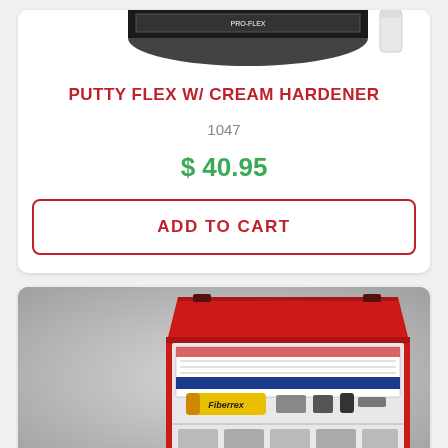[Figure (photo): Putty Flex product with cream hardener, partially cropped at top of first card]
PUTTY FLEX W/ CREAM HARDENER
1047
$ 40.95
ADD TO CART
[Figure (photo): A red plastic toolbox/kit open showing Fiberrex product contents, on grey background]